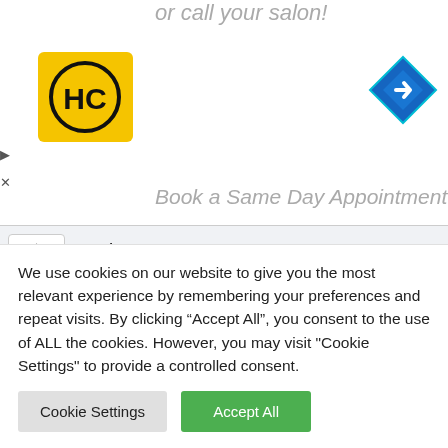[Figure (screenshot): Partial website header with text 'or call your salon!' in italic gray, HC logo (yellow square with HC in black circle), blue navigation diamond icon, play and X buttons on left side, and 'Book a Same Day Appointment' text partially visible]
ame *
[Figure (screenshot): Web form input field for name (empty text box with light gray background)]
Email *
[Figure (screenshot): Web form input field for email (empty text box with light gray background)]
We use cookies on our website to give you the most relevant experience by remembering your preferences and repeat visits. By clicking “Accept All”, you consent to the use of ALL the cookies. However, you may visit "Cookie Settings" to provide a controlled consent.
Cookie Settings
Accept All